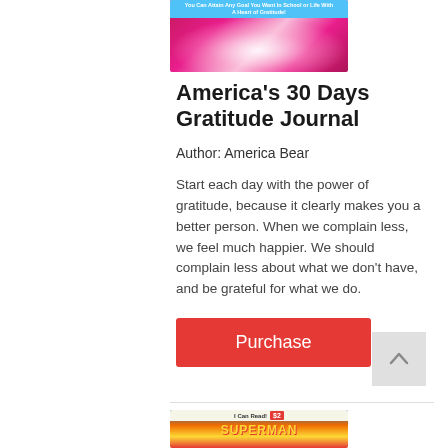[Figure (illustration): Book cover for America's 30 Days Gratitude Journal — pink/magenta gradient background with a light glow center and a light blue banner at the top with white text.]
America's 30 Days Gratitude Journal
Author: America Bear
Start each day with the power of gratitude, because it clearly makes you a better person. When we complain less, we feel much happier. We should complain less about what we don't have, and be grateful for what we do.
[Figure (illustration): Red Purchase button]
[Figure (illustration): Book cover for Superman I Can Read! Level 2 book — colorful comic-style cover with Superman text and a price badge.]